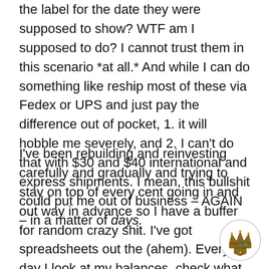the label for the date they were supposed to show? WTF am I supposed to do? I cannot trust them in this scenario *at all.* And while I can do something like reship most of these via Fedex or UPS and just pay the difference out of pocket, 1. it will hobble me severely, and 2. I can't do that with $30 and $40 international and express shipments. I mean, this bullshit could put me out of business – AGAIN – in a matter of days.
I've been rebuilding and reinvesting carefully and gradually and trying to stay on top of every cent going in and out way in advance so I have a buffer for random crazy shit. I've got spreadsheets out the (ahem). Every day I look at my balances, check what expenses are coming up, make a decision whether my next non-shipping cash outlay will be to refund a 2015 customer or order that next batch of packaging or essential oils or whatever. I have only paid myself for mission-critical
[Figure (logo): Small decorative crown/crest logo in bottom right corner]